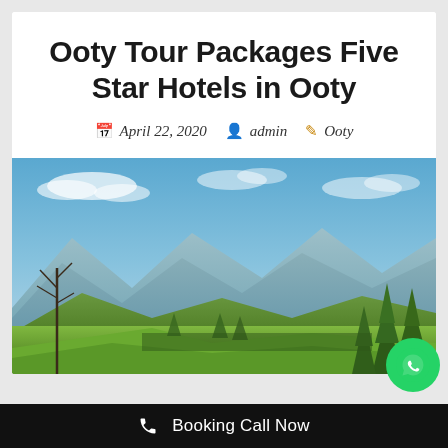Ooty Tour Packages Five Star Hotels in Ooty
April 22, 2020   admin   Ooty
[Figure (photo): Scenic landscape photo of Ooty hills with blue sky, clouds, mountains in background, pine/conifer trees in foreground, and green hillside meadow]
[Figure (other): WhatsApp floating action button (green circle with phone handset icon)]
Booking Call Now